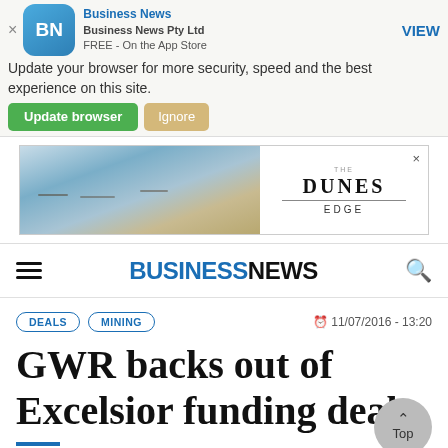Your web browser (iOS 11) is out of date. Update your browser for more security, speed and the best experience on this site.
[Figure (screenshot): Business News app icon and mobile app store banner with Update browser and Ignore buttons]
[Figure (photo): The Dunes Edge advertisement banner with coastal restaurant photo]
BUSINESS NEWS
DEALS   MINING   11/07/2016 - 13:20
GWR backs out of Excelsior funding deal